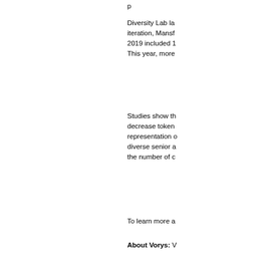Diversity Lab la iteration, Mansf 2019 included 1 This year, more
Studies show th decrease token representation diverse senior a the number of c
To learn more a
About Vorys: V Ohio, Washingt largest law firm Vorys' diversity,
About Diversit and inclusion in more than 150 behavioral scie measure the re